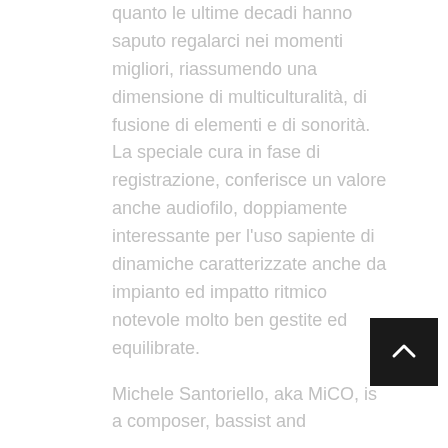quanto le ultime decadi hanno saputo regalarci nei momenti migliori, riassumendo una dimensione di multiculturalità, di fusione di elementi e di sonorità.
La speciale cura in fase di registrazione, conferisce un valore anche audiofilo, doppiamente interessante per l'uso sapiente di dinamiche caratterizzate anche da impianto ed impatto ritmico notevole molto ben gestite ed equilibrate.

Michele Santoriello, aka MiCO, is a composer, bassist and...